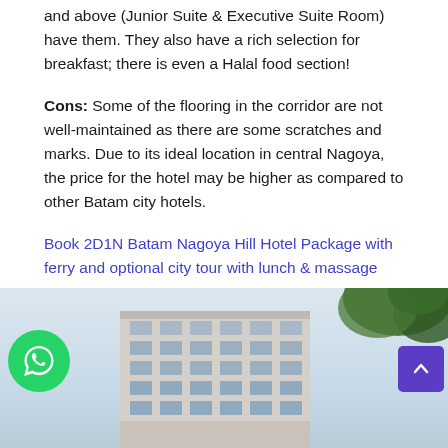and above (Junior Suite & Executive Suite Room) have them. They also have a rich selection for breakfast; there is even a Halal food section!
Cons: Some of the flooring in the corridor are not well-maintained as there are some scratches and marks. Due to its ideal location in central Nagoya, the price for the hotel may be higher as compared to other Batam city hotels.
Book 2D1N Batam Nagoya Hill Hotel Package with ferry and optional city tour with lunch & massage
I-Hotel Baloi 4*
[Figure (photo): Exterior photo of I-Hotel Baloi building, a tall multi-story hotel building against a cloudy sky with trees visible in the upper right corner. A green WhatsApp chat button is visible on the lower left, and a purple back-to-top arrow button on the lower right.]